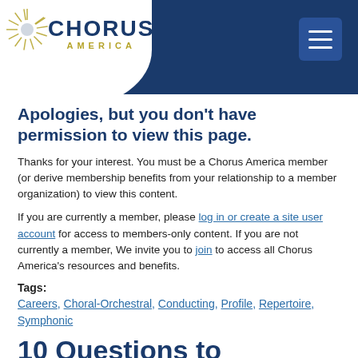Chorus America
Apologies, but you don't have permission to view this page.
Thanks for your interest. You must be a Chorus America member (or derive membership benefits from your relationship to a member organization) to view this content.
If you are currently a member, please log in or create a site user account for access to members-only content. If you are not currently a member, We invite you to join to access all Chorus America's resources and benefits.
Tags:
Careers, Choral-Orchestral, Conducting, Profile, Repertoire, Symphonic
10 Questions to